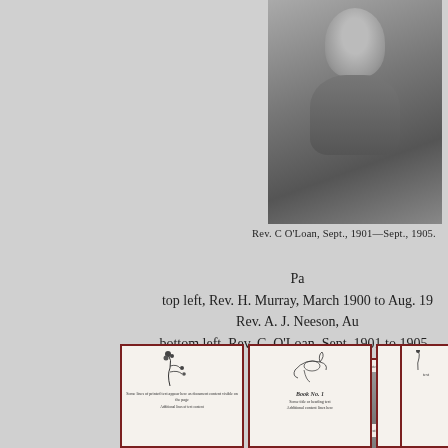[Figure (photo): Black and white portrait photograph of a clergyman in dark clothing, head and shoulders view]
Rev. C O'Loan, Sept., 1901—Sept., 1905.
Pa top left, Rev. H. Murray, March 1900 to Aug. 19 Rev. A. J. Neeson, Au bottom left, Rev. C. O'Loan, Sept. 1901 to 1905 -
[Figure (photo): Thumbnail of a document page with two photographs of buildings and text, in a dark red border]
[Figure (illustration): Small document thumbnail with floral decoration on left side and text, dark red border]
[Figure (illustration): Small document thumbnail with ornate floral/bird decoration at top and text including 'Book No. 1', dark red border]
[Figure (illustration): Small document thumbnail with floral decoration and text including 'Book No. 1', dark red border]
[Figure (illustration): Partially visible small document thumbnail at right edge, dark red border]